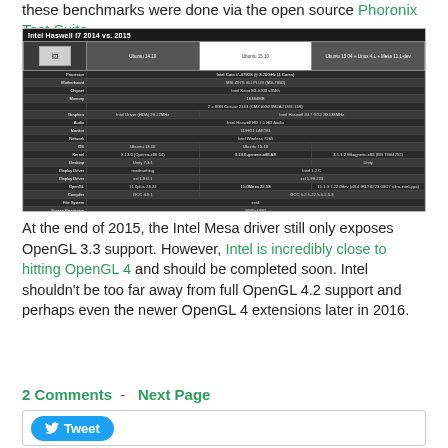these benchmarks were done via the open source Phoronix Test Suite.
[Figure (screenshot): Screenshot of Intel Haswell I7 2014 vs. 2015 system specification comparison table from OpenBenchmarking.org, showing hardware details across Ubuntu 14.10, Ubuntu 15.10, and Ubuntu 15.04 configurations including processor, motherboard, chipset, memory, graphics, audio, monitor, network, OS, kernel, Xserver, desktop, display driver, display driver, OpenGL, compiler, file system, and screen resolution.]
At the end of 2015, the Intel Mesa driver still only exposes OpenGL 3.3 support. However, Intel is incredibly close to hitting OpenGL 4 and should be completed soon. Intel shouldn't be too far away from full OpenGL 4.2 support and perhaps even the newer OpenGL 4 extensions later in 2016.
2 Comments  -  Next Page
[Figure (other): Tweet button widget]